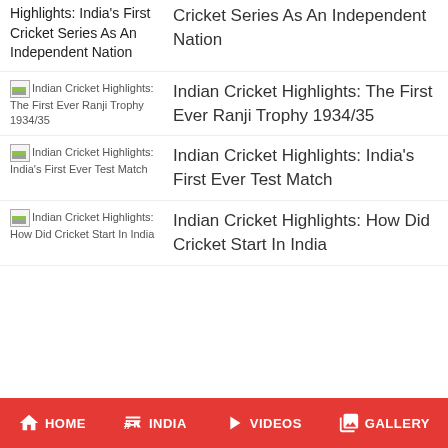Highlights: India's First Cricket Series As An Independent Nation | Indian Cricket Highlights: Cricket Series As An Independent Nation
Indian Cricket Highlights: The First Ever Ranji Trophy 1934/35
Indian Cricket Highlights: India's First Ever Test Match
Indian Cricket Highlights: How Did Cricket Start In India
HOME  INDIA  VIDEOS  GALLERY